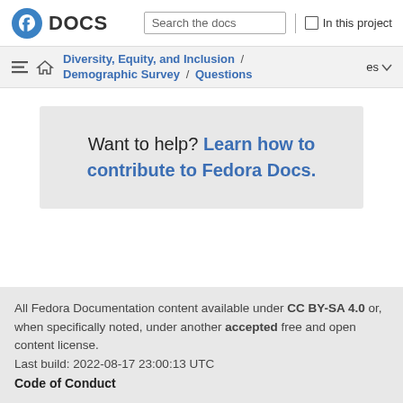DOCS  Search the docs  In this project
Diversity, Equity, and Inclusion / Demographic Survey / Questions   es
Want to help? Learn how to contribute to Fedora Docs.
All Fedora Documentation content available under CC BY-SA 4.0 or, when specifically noted, under another accepted free and open content license.
Last build: 2022-08-17 23:00:13 UTC
Code of Conduct